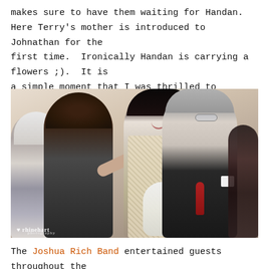makes sure to have them waiting for Handan. Here Terry's mother is introduced to Johnathan for the first time. Ironically Handan is carrying a flowers ;). It is a simple moment that I was thrilled to capture.
[Figure (photo): Wedding photo showing a bride in a beaded/sequined gown holding white tulips, speaking with an older woman (Terry's mother) and a man in a suit (Johnathan). Two other guests are visible on the left and right. Photo watermarked with rhinehart photography logo in bottom left corner.]
The Joshua Rich Band entertained guests throughout the afternoon. The ensemble included Joshua Rich,